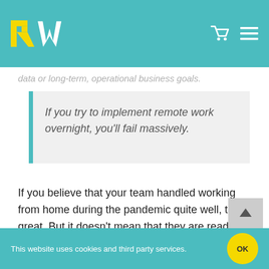RW [logo] [cart icon] [menu icon]
data or long-term, operational business goals.
If you try to implement remote work overnight, you'll fail massively.
If you believe that your team handled working from home during the pandemic quite well, that's great. But it doesn't mean that they are ready to work the same way forever. Whatever served its
This website uses cookies and third party services.   OK